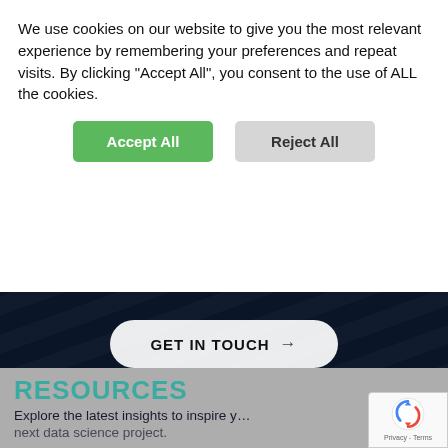We use cookies on our website to give you the most relevant experience by remembering your preferences and repeat visits. By clicking "Accept All", you consent to the use of ALL the cookies.
Accept All
Reject All
[Figure (screenshot): Dark navy background section with a 'GET IN TOUCH →' button centered on it, with diagonal line texture overlay.]
RESOURCES
Explore the latest insights to inspire your next data science project.